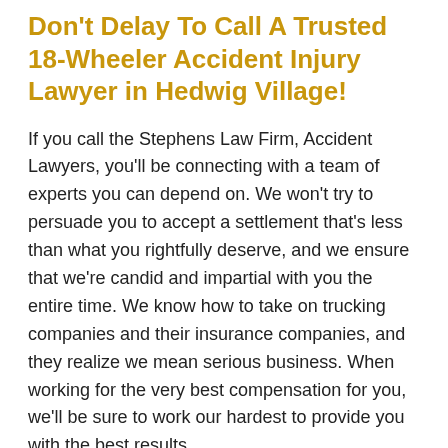Don't Delay To Call A Trusted 18-Wheeler Accident Injury Lawyer in Hedwig Village!
If you call the Stephens Law Firm, Accident Lawyers, you'll be connecting with a team of experts you can depend on. We won't try to persuade you to accept a settlement that's less than what you rightfully deserve, and we ensure that we're candid and impartial with you the entire time. We know how to take on trucking companies and their insurance companies, and they realize we mean serious business. When working for the very best compensation for you, we'll be sure to work our hardest to provide you with the best results.
For 30 years (and counting), we've been acknowledged some of the toughest in the state for helping victims of trucking accidents. For...